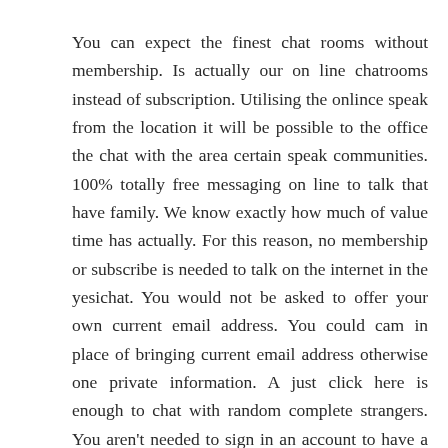You can expect the finest chat rooms without membership. Is actually our on line chatrooms instead of subscription. Utilising the onlince speak from the location it will be possible to the office the chat with the area certain speak communities. 100% totally free messaging on line to talk that have family. We know exactly how much of value time has actually. For this reason, no membership or subscribe is needed to talk on the internet in the yesichat. You would not be asked to offer your own current email address. You could cam in place of bringing current email address otherwise one private information. A just click here is enough to chat with random complete strangers. You aren't needed to sign in an account to have a chat on the internet. Messaging could have never been this simple. One simply click is enough to initiate chatting without being expected to join up, you certainly do not need to